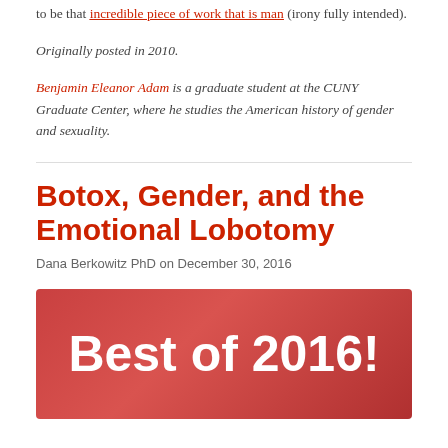to be that incredible piece of work that is man (irony fully intended).
Originally posted in 2010.
Benjamin Eleanor Adam is a graduate student at the CUNY Graduate Center, where he studies the American history of gender and sexuality.
Botox, Gender, and the Emotional Lobotomy
Dana Berkowitz PhD on December 30, 2016
[Figure (other): Red banner image with white bold text reading 'Best of 2016!']